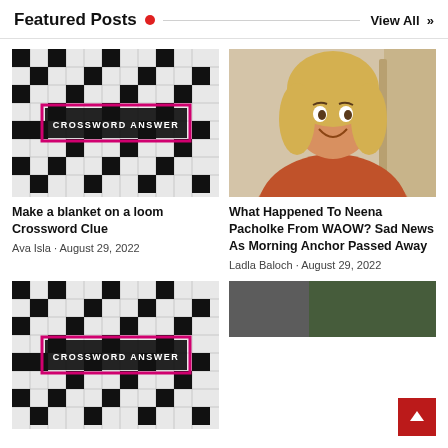Featured Posts
View All »
[Figure (photo): Crossword puzzle grid with black and pink bordered banner reading CROSSWORD ANSWER]
Make a blanket on a loom Crossword Clue
Ava Isla · August 29, 2022
[Figure (photo): Smiling blonde woman in orange top indoors]
What Happened To Neena Pacholke From WAOW? Sad News As Morning Anchor Passed Away
Ladla Baloch · August 29, 2022
[Figure (photo): Crossword puzzle grid with black and pink bordered banner reading CROSSWORD ANSWER (second card, bottom left)]
[Figure (photo): Partial image bottom right, blurred green/dark background]